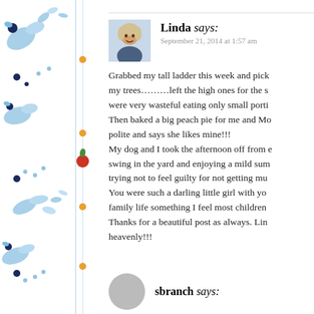[Figure (illustration): Decorative left border with blue watercolor floral/bird illustrations and orange dots on a white background with vertical lines]
[Figure (photo): Small avatar photo of Linda, a woman with blonde hair]
Linda says:
September 21, 2014 at 1:57 am
Grabbed my tall ladder this week and pick my trees………left the high ones for the s were very wasteful eating only small porti Then baked a big peach pie for me and Mo polite and says she likes mine!!! My dog and I took the afternoon off from e swing in the yard and enjoying a mild sum trying not to feel guilty for not getting mu You were such a darling little girl with yo family life something I feel most children Thanks for a beautiful post as always. Lin heavenly!!!
sbranch says: